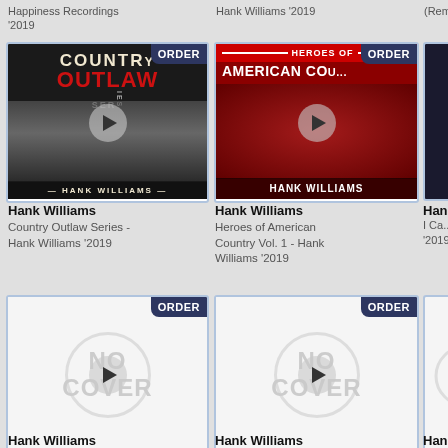Happiness Recordings '2019
Hank Williams '2019
(Rem...
[Figure (photo): Country Outlaw Series album cover - Hank Williams black and white photo with ORDER badge]
[Figure (photo): Heroes of American Country Vol. 1 - Hank Williams red-toned album cover with ORDER badge]
[Figure (photo): Partial third album cover cropped on right]
Hank Williams
Country Outlaw Series - Hank Williams '2019
Hank Williams
Heroes of American Country Vol. 1 - Hank Williams '2019
Hank Williams I Ca... '2019
[Figure (photo): No Cover placeholder with ORDER badge]
[Figure (photo): No Cover placeholder with ORDER badge]
[Figure (photo): Partial No Cover placeholder cropped on right]
Hank Williams
Hank Williams
Hank Williams